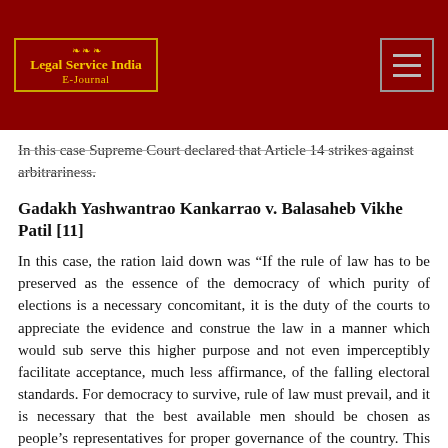[Figure (logo): Legal Service India E-Journal logo with decorative border and golden text on dark red background]
In this case Supreme Court declared that Article 14 strikes against arbitrariness.
Gadakh Yashwantrao Kankarrao v. Balasaheb Vikhe Patil [11]
In this case, the ration laid down was “If the rule of law has to be preserved as the essence of the democracy of which purity of elections is a necessary concomitant, it is the duty of the courts to appreciate the evidence and construe the law in a manner which would sub serve this higher purpose and not even imperceptibly facilitate acceptance, much less affirmance, of the falling electoral standards. For democracy to survive, rule of law must prevail, and it is necessary that the best available men should be chosen as people’s representatives for proper governance of the country. This can be best achieved through men of high moral and ethical values who win the elections on a positive vote obtained on their own merit and not by the negative vote of process of elimination based on comparative demerits of the candidates.”